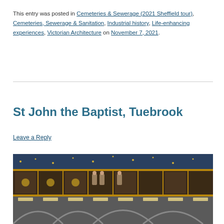This entry was posted in Cemeteries & Sewerage (2021 Sheffield tour), Cemeteries, Sewerage & Sanitation, Industrial history, Life-enhancing experiences, Victorian Architecture on November 7, 2021.
St John the Baptist, Tuebrook
Leave a Reply
[Figure (photo): Interior architectural photo of St John the Baptist, Tuebrook, showing ornate decorated ceiling panels with golden designs, religious figures, stars on blue background, and stone arches in Gothic style.]